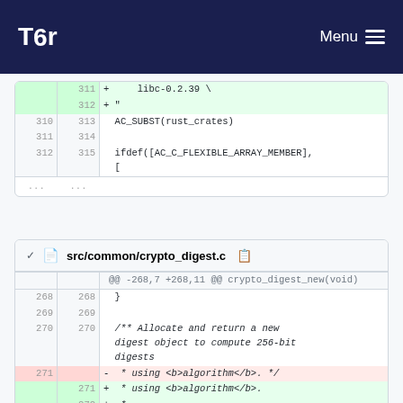Tor — Menu
[Figure (screenshot): Code diff showing lines 311-315 with additions of libc-0.2.39 and AC_SUBST/ifdef lines]
[Figure (screenshot): Code diff for src/common/crypto_digest.c showing lines 268-272 with comment changes about algorithm parameter]